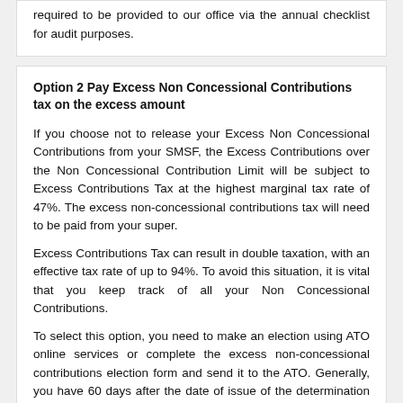required to be provided to our office via the annual checklist for audit purposes.
Option 2 Pay Excess Non Concessional Contributions tax on the excess amount
If you choose not to release your Excess Non Concessional Contributions from your SMSF, the Excess Contributions over the Non Concessional Contribution Limit will be subject to Excess Contributions Tax at the highest marginal tax rate of 47%. The excess non-concessional contributions tax will need to be paid from your super.
Excess Contributions Tax can result in double taxation, with an effective tax rate of up to 94%. To avoid this situation, it is vital that you keep track of all your Non Concessional Contributions.
To select this option, you need to make an election using ATO online services or complete the excess non-concessional contributions election form and send it to the ATO. Generally, you have 60 days after the date of issue of the determination to make an election.